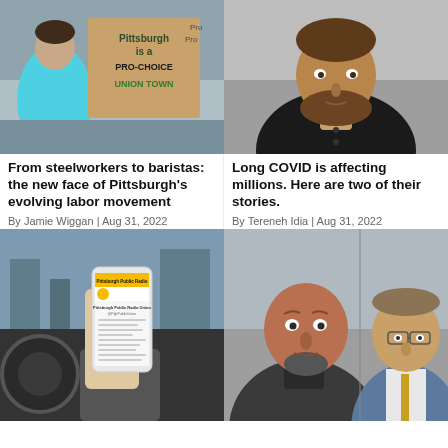[Figure (photo): Person holding a sign that reads 'Pittsburgh is a PRO-CHOICE UNION TOWN' at a protest]
[Figure (photo): Young bearded man in a black shirt looking at the camera, outdoors]
From steelworkers to baristas: the new face of Pittsburgh's evolving labor movement
By Jamie Wiggan | Aug 31, 2022
Long COVID is affecting millions. Here are two of their stories.
By Tereneh Idia | Aug 31, 2022
[Figure (photo): Hand holding a smartphone showing Pittsburgh Public Radio Union Twitter/X page, inside a car]
[Figure (photo): Two men side by side: a bald man with goatee in a dark jacket on the left, and a man with glasses in a suit on the right]